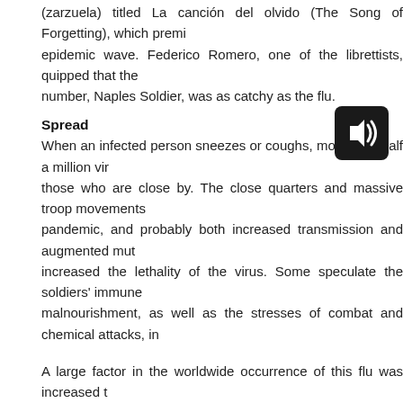(zarzuela) titled La canción del olvido (The Song of Forgetting), which premi epidemic wave. Federico Romero, one of the librettists, quipped that the number, Naples Soldier, was as catchy as the flu.
[Figure (other): Audio speaker icon — black rounded rectangle with white speaker symbol and sound waves]
Spread
When an infected person sneezes or coughs, more than half a million vir those who are close by. The close quarters and massive troop movements pandemic, and probably both increased transmission and augmented mut increased the lethality of the virus. Some speculate the soldiers' immune malnourishment, as well as the stresses of combat and chemical attacks, in
A large factor in the worldwide occurrence of this flu was increased t systems made it easier for soldiers, sailors, and civilian travelers to spread t In the United States, the disease was first observed in Haskell Count prompting local doctor Loring Miner to warn the U.S. Public Health Ser March 1918, company cook Albert Gitchell reported sick at Fort Riley, K 1918, over 100 soldiers were in the hospital. Within days, 522 men at the e March 1918, the virus had reached Queens, New York. Failure to t March/April was later criticized.